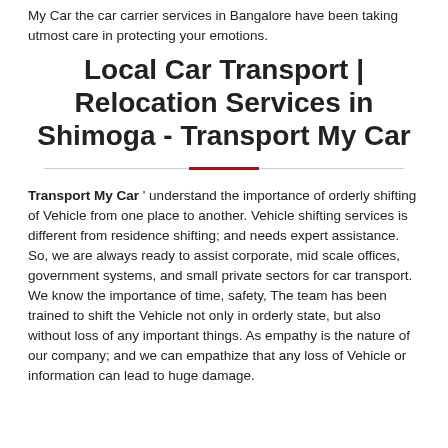My Car the car carrier services in Bangalore have been taking utmost care in protecting your emotions.
Local Car Transport | Relocation Services in Shimoga - Transport My Car
Transport My Car ' understand the importance of orderly shifting of Vehicle from one place to another. Vehicle shifting services is different from residence shifting; and needs expert assistance. So, we are always ready to assist corporate, mid scale offices, government systems, and small private sectors for car transport. We know the importance of time, safety, The team has been trained to shift the Vehicle not only in orderly state, but also without loss of any important things. As empathy is the nature of our company; and we can empathize that any loss of Vehicle or information can lead to huge damage.